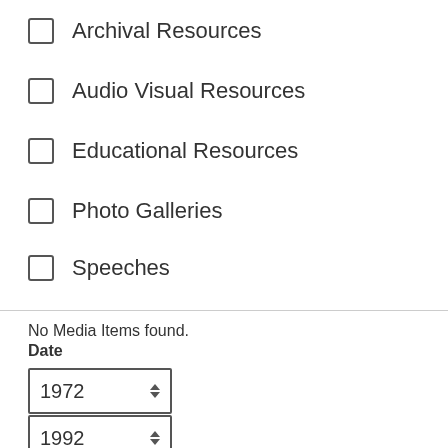Archival Resources
Audio Visual Resources
Educational Resources
Photo Galleries
Speeches
No Media Items found.
Date
1972
1992